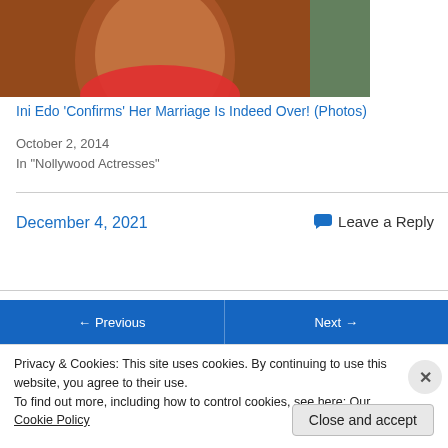[Figure (photo): Close-up photo of a child in a red shirt, with a teal/green background element on the right]
Ini Edo 'Confirms' Her Marriage Is Indeed Over! (Photos)
October 2, 2014
In "Nollywood Actresses"
December 4, 2021
Leave a Reply
← Previous
Next →
Privacy & Cookies: This site uses cookies. By continuing to use this website, you agree to their use.
To find out more, including how to control cookies, see here: Our Cookie Policy
Close and accept